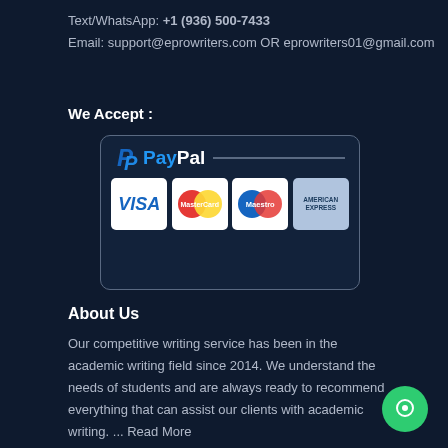Text/WhatsApp: +1 (936) 500-7433
Email: support@eprowriters.com OR eprowriters01@gmail.com
We Accept :
[Figure (logo): Payment methods box showing PayPal, Visa, MasterCard, Maestro, and American Express logos inside a rounded dark bordered rectangle.]
About Us
Our competitive writing service has been in the academic writing field since 2014. We understand the needs of students and are always ready to recommend everything that can assist our clients with academic writing. ... Read More